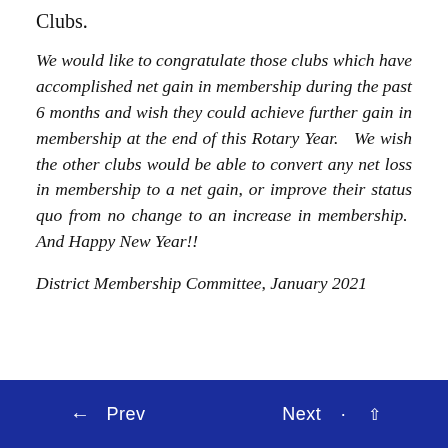Clubs.
We would like to congratulate those clubs which have accomplished net gain in membership during the past 6 months and wish they could achieve further gain in membership at the end of this Rotary Year.  We wish the other clubs would be able to convert any net loss in membership to a net gain, or improve their status quo from no change to an increase in membership.  And Happy New Year!!
District Membership Committee, January 2021
← Prev   Next · ^